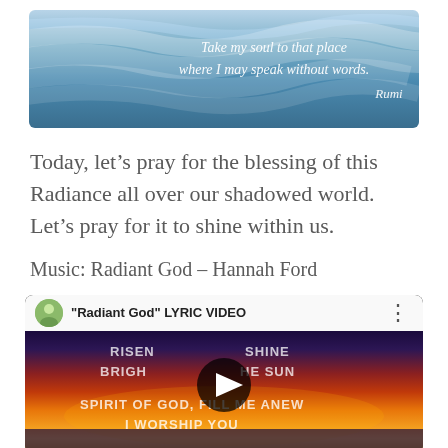[Figure (illustration): Blue wavy abstract background with overlaid white italic quote text: 'Take my soul to that place where I may speak without words.' attributed to Rumi]
Today, let's pray for the blessing of this Radiance all over our shadowed world. Let's pray for it to shine within us.
Music: Radiant God – Hannah Ford
[Figure (screenshot): YouTube video player screenshot showing 'Radiant God' LYRIC VIDEO with channel thumbnail, video title, and sunset background with lyrics: RISEN TO SHINE / BRIGHT LIKE THE SUN / SPIRIT OF GOD, FILL ME ANEW / I WORSHIP YOU, with a play button overlay.]